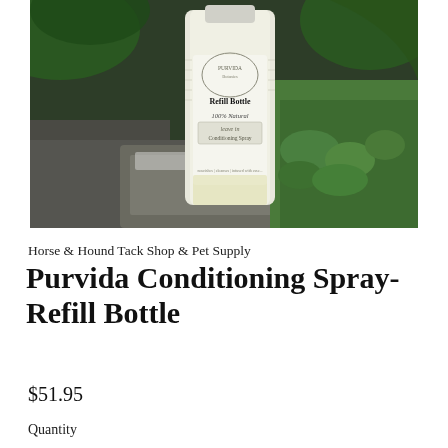[Figure (photo): A bottle of Purvida Refill Bottle 100% Natural Leave-In Conditioning Spray sitting on a mossy rock surrounded by green plants. The bottle has a white label with text.]
Horse & Hound Tack Shop & Pet Supply
Purvida Conditioning Spray- Refill Bottle
$51.95
Quantity